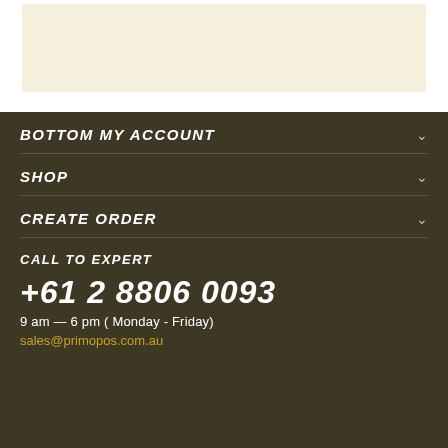[Figure (other): Cream/beige colored rectangular box on white background at top of page]
BOTTOM MY ACCOUNT
SHOP
CREATE ORDER
CALL TO EXPERT
+61 2 8806 0093
9 am — 6 pm ( Monday - Friday)
sales@primopos.com.au